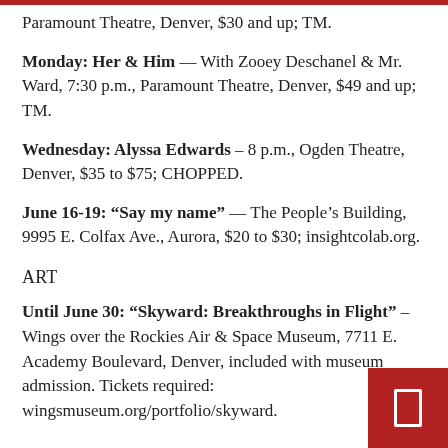Paramount Theatre, Denver, $30 and up; TM.
Monday: Her & Him — With Zooey Deschanel & Mr. Ward, 7:30 p.m., Paramount Theatre, Denver, $49 and up; TM.
Wednesday: Alyssa Edwards – 8 p.m., Ogden Theatre, Denver, $35 to $75; CHOPPED.
June 16-19: “Say my name” — The People’s Building, 9995 E. Colfax Ave., Aurora, $20 to $30; insightcolab.org.
ART
Until June 30: “Skyward: Breakthroughs in Flight” – Wings over the Rockies Air & Space Museum, 7711 E. Academy Boulevard, Denver, included with museum admission. Tickets required: wingsmuseum.org/portfolio/skyward.